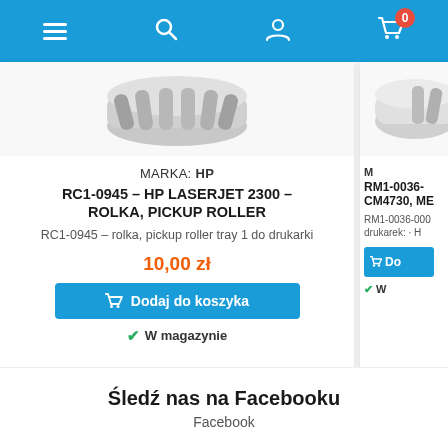Navigation bar with menu, search, profile, and cart (0 items) icons
[Figure (screenshot): Product image of HP pickup roller RC1-0945, partially visible at top]
MARKA: HP
RC1-0945 – HP LASERJET 2300 – ROLKA, PICKUP ROLLER
RC1-0945 – rolka, pickup roller tray 1 do drukarki
10,00 zł
Dodaj do koszyka
W magazynie
[Figure (screenshot): Partial product image of RM1-0036 item visible on right side]
M
RM1-0036- CM4730, ME
RM1-0036-000 drukarek: · H
Do
W
Śledź nas na Facebooku
Facebook